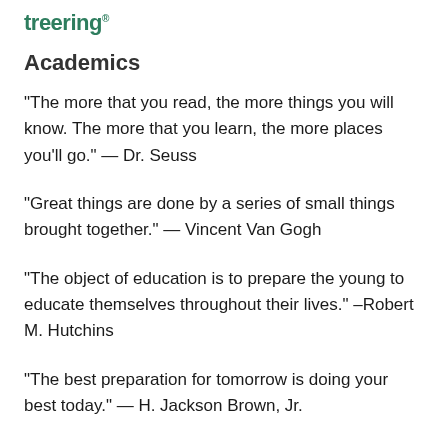treering
Academics
“The more that you read, the more things you will know. The more that you learn, the more places you’ll go.” — Dr. Seuss
“Great things are done by a series of small things brought together.” — Vincent Van Gogh
“The object of education is to prepare the young to educate themselves throughout their lives.” –Robert M. Hutchins
“The best preparation for tomorrow is doing your best today.” — H. Jackson Brown, Jr.